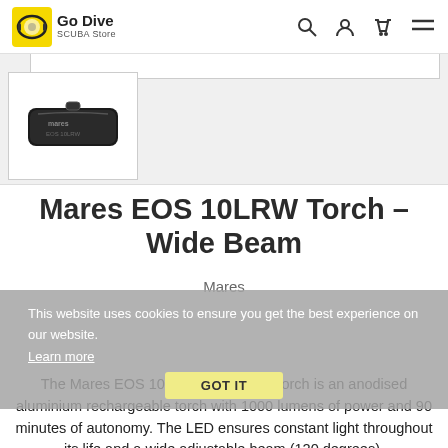[Figure (logo): Go Dive SCUBA Store logo with yellow diving mask icon]
[Figure (photo): Thumbnail image of Mares EOS 10LRW torch case/pouch, black, rectangular]
Mares EOS 10LRW Torch – Wide Beam
Mares
This website uses cookies to ensure you get the best experience on our website. Learn more
GOT IT
The Mares EOS 10LRW underwater torch is an anodised aluminium rechargeable torch with 1000 lumens of power and 90 minutes of autonomy. The LED ensures constant light throughout its life and a wide adjustable beam (120 degrees).